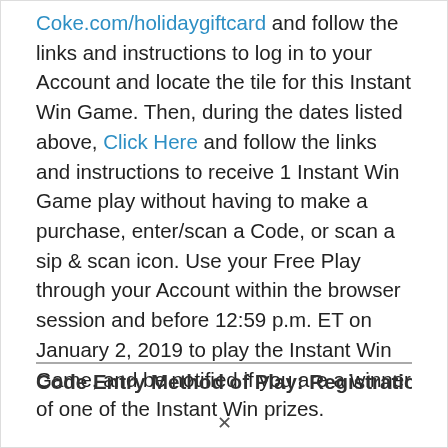Coke.com/holidaygiftcard and follow the links and instructions to log in to your Account and locate the tile for this Instant Win Game. Then, during the dates listed above, Click Here and follow the links and instructions to receive 1 Instant Win Game play without having to make a purchase, enter/scan a Code, or scan a sip & scan icon. Use your Free Play through your Account within the browser session and before 12:59 p.m. ET on January 2, 2019 to play the Instant Win Game, and be notified if you are a winner of one of the Instant Win prizes.
Code Entry Method of Play: Registration...